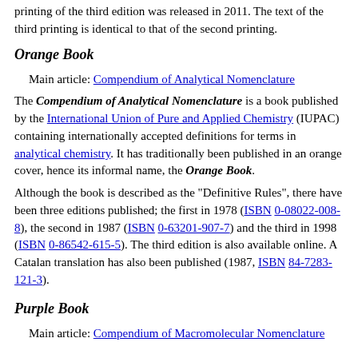printing of the third edition was released in 2011. The text of the third printing is identical to that of the second printing.
Orange Book
Main article: Compendium of Analytical Nomenclature
The Compendium of Analytical Nomenclature is a book published by the International Union of Pure and Applied Chemistry (IUPAC) containing internationally accepted definitions for terms in analytical chemistry. It has traditionally been published in an orange cover, hence its informal name, the Orange Book.
Although the book is described as the "Definitive Rules", there have been three editions published; the first in 1978 (ISBN 0-08022-008-8), the second in 1987 (ISBN 0-63201-907-7) and the third in 1998 (ISBN 0-86542-615-5). The third edition is also available online. A Catalan translation has also been published (1987, ISBN 84-7283-121-3).
Purple Book
Main article: Compendium of Macromolecular Nomenclature